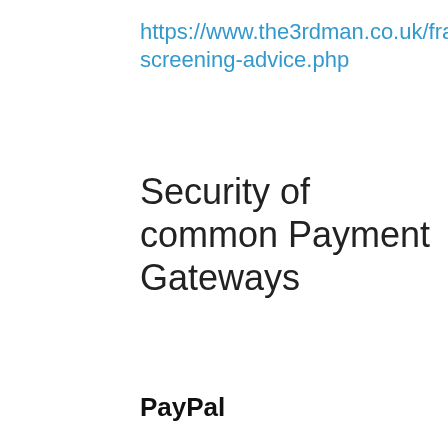https://www.the3rdman.co.uk/fraud-screening-advice.php
Security of common Payment Gateways
PayPal
PayPal’s website payments standard product only provides seller protection for